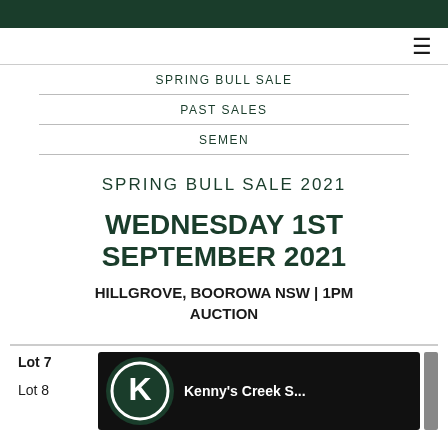SPRING BULL SALE
PAST SALES
SEMEN
SPRING BULL SALE 2021
WEDNESDAY 1ST SEPTEMBER 2021
HILLGROVE, BOOROWA NSW | 1PM AUCTION
Lot 7
Lot 8
[Figure (photo): Kenny's Creek S... logo and photo on dark background]